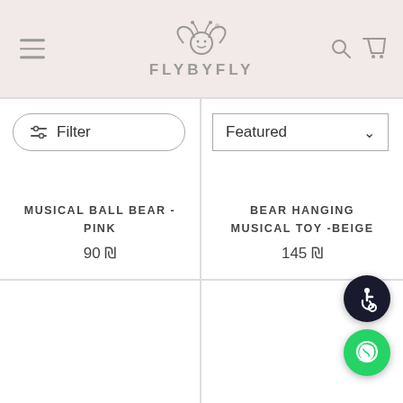FLYBYFLY
Filter
Featured
MUSICAL BALL BEAR - PINK
90 ₪
BEAR HANGING MUSICAL TOY -BEIGE
145 ₪